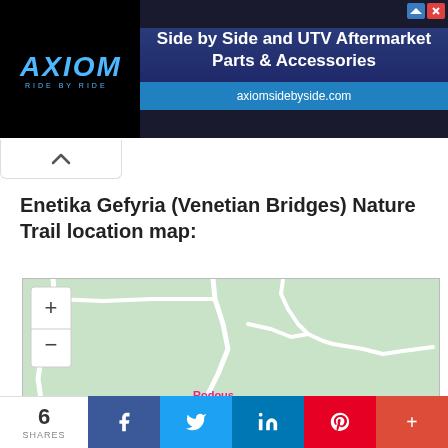[Figure (screenshot): Axiom side-by-side UTV parts advertisement banner with logo on dark background and URL axiomsidebyside.com]
Enetika Gefyria (Venetian Bridges) Nature Trail location map:
[Figure (map): Interactive map showing the location of Enetika Gefyria (Venetian Bridges) Nature Trail with zoom controls, green terrain, white road paths, and a location pin for Rodous Traditional House (Το Κονάτζι της Ροδού)]
6 SHARES | Facebook | Twitter | LinkedIn | Pinterest | Plus